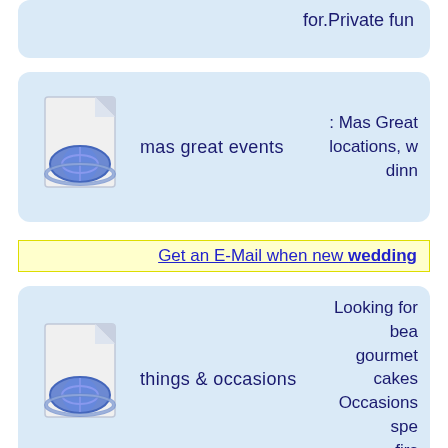[Figure (screenshot): Partial card at top showing text 'for.Private fun' on light blue background]
mas great events
: Mas Great locations, w dinn
Get an E-Mail when new wedding
things & occasions
Looking for bea gourmet cakes Occasions spe firs
memory lane photo
We specializ weddings, birth